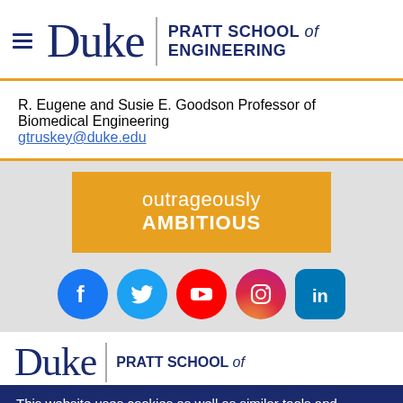[Figure (logo): Duke Pratt School of Engineering logo with hamburger menu icon]
R. Eugene and Susie E. Goodson Professor of Biomedical Engineering
gtruskey@duke.edu
outrageously AMBITIOUS
[Figure (illustration): Social media icons: Facebook, Twitter, YouTube, Instagram, LinkedIn]
[Figure (logo): Duke Pratt School of Engineering footer logo]
This website uses cookies as well as similar tools and technologies to understand visitors' experiences. By continuing to use this website, you consent to Duke